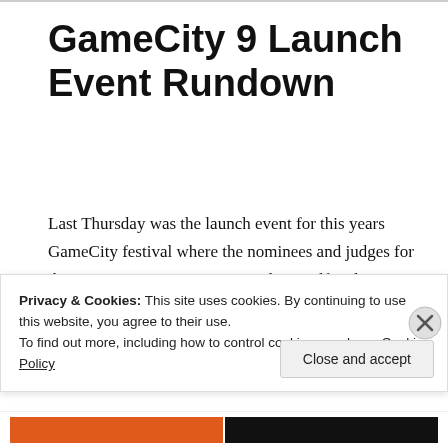GameCity 9 Launch Event Rundown
Last Thursday was the launch event for this years GameCity festival where the nominees and judges for this years prizes were announced. Myself and Kieran had the opportunity to show off the current build of Hashtag Dungeon at the event!
It was really cool to see people playing and talking
Privacy & Cookies: This site uses cookies. By continuing to use this website, you agree to their use.
To find out more, including how to control cookies, see here: Cookie Policy
Close and accept